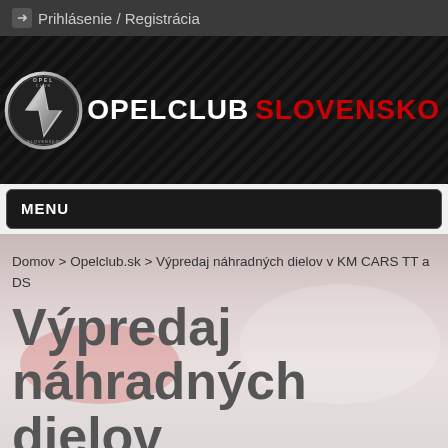Prihlásenie / Registrácia
[Figure (logo): OPELCLUB SLOVENSKO logo with Opel lightning bolt emblem in chrome circle, white OPELCLUB text, red SLOVENSKO text on dark textured background]
MENU
[Figure (photo): Background photo of Opel cars, blurred/faded]
Domov > Opelclub.sk > Výpredaj náhradných dielov v KM CARS TT a DS
Výpredaj náhradných dielov KM CARS TT